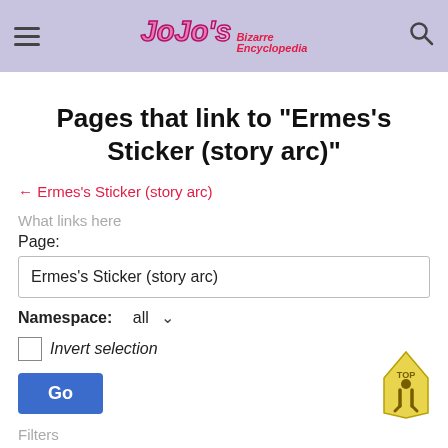JoJo's Bizarre Encyclopedia
Pages that link to "Ermes's Sticker (story arc)"
← Ermes's Sticker (story arc)
What links here
Page:
Ermes's Sticker (story arc)
Namespace:  all
Invert selection
Go
Filters
Hide transclusions | Hide links | Hide redirects